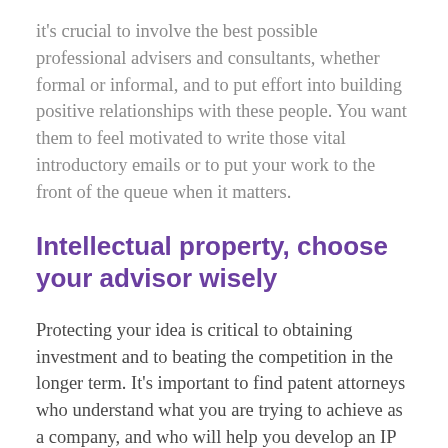it's crucial to involve the best possible professional advisers and consultants, whether formal or informal, and to put effort into building positive relationships with these people. You want them to feel motivated to write those vital introductory emails or to put your work to the front of the queue when it matters.
Intellectual property, choose your advisor wisely
Protecting your idea is critical to obtaining investment and to beating the competition in the longer term. It's important to find patent attorneys who understand what you are trying to achieve as a company, and who will help you develop an IP strategy overall rather than simply